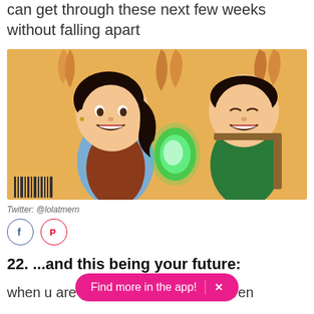can get through these next few weeks without falling apart
[Figure (illustration): Cartoon illustration of two animated children characters on an orange/yellow background. A girl with a ponytail wearing a blue vest on the left, and a boy on the right, with a glowing green light between them.]
Twitter: @lolatmern
[Figure (other): Facebook and Pinterest share buttons]
22. ...and this being your future:
when u are graduating and u don't even
Find more in the app! ×